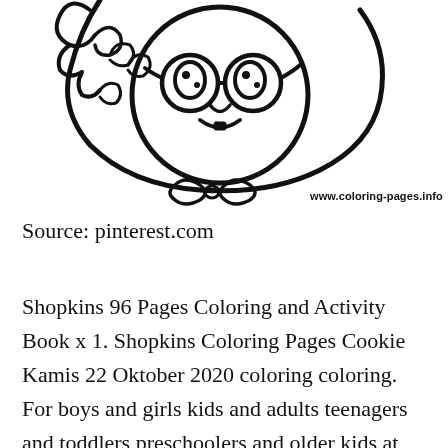[Figure (illustration): Partial view of a cute Shopkins character coloring page illustration — a cartoon figure with round face, smiling expression, bow tie detail, and raised hand/arm. Black and white line art. Watermark: www.coloring-pages.info]
Source: pinterest.com
Shopkins 96 Pages Coloring and Activity Book x 1. Shopkins Coloring Pages Cookie Kamis 22 Oktober 2020 coloring coloring. For boys and girls kids and adults teenagers and toddlers preschoolers and older kids at school. Self-reliance [blocked icon] nd perseverance to